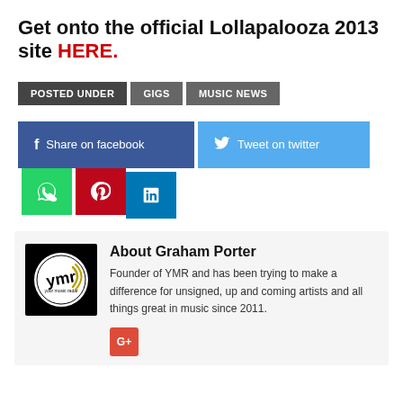Get onto the official Lollapalooza 2013 site HERE.
POSTED UNDER   GIGS   MUSIC NEWS
[Figure (infographic): Social share buttons: Share on facebook, Tweet on twitter, WhatsApp, Pinterest, LinkedIn]
[Figure (logo): YMR (Your Music Radar) logo - black and white circle logo]
About Graham Porter
Founder of YMR and has been trying to make a difference for unsigned, up and coming artists and all things great in music since 2011.
[Figure (infographic): Google Plus share button]